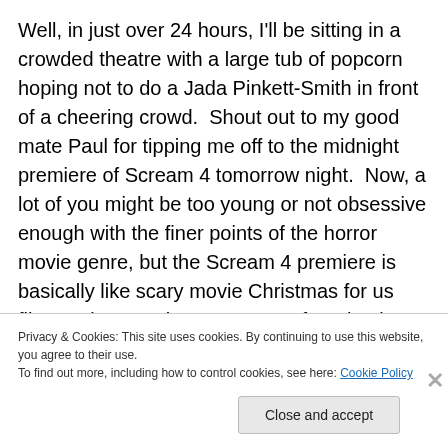Well, in just over 24 hours, I'll be sitting in a crowded theatre with a large tub of popcorn hoping not to do a Jada Pinkett-Smith in front of a cheering crowd.  Shout out to my good mate Paul for tipping me off to the midnight premiere of Scream 4 tomorrow night.  Now, a lot of you might be too young or not obsessive enough with the finer points of the horror movie genre, but the Scream 4 premiere is basically like scary movie Christmas for us film nerds. Now, it occurs to me from having talked to several friends that, for various reasons, the Scream movies are
Privacy & Cookies: This site uses cookies. By continuing to use this website, you agree to their use.
To find out more, including how to control cookies, see here: Cookie Policy
Close and accept